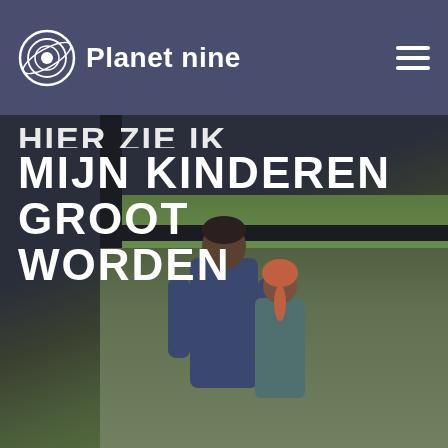Planet nine
HIER ZIE IK
MIJN KINDEREN
GROOT
WORDEN
[Figure (photo): A person standing with a child looking through a large window at green trees outside, viewed from behind. Dark window frame visible. Photo overlaid with bold white Dutch text.]